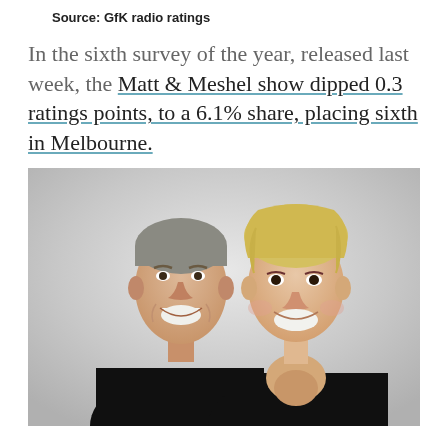Source: GfK radio ratings
In the sixth survey of the year, released last week, the Matt & Meshel show dipped 0.3 ratings points, to a 6.1% share, placing sixth in Melbourne.
[Figure (photo): Photo of two people, a man and a woman (Matt and Meshel), both wearing black, smiling at the camera against a light grey background.]